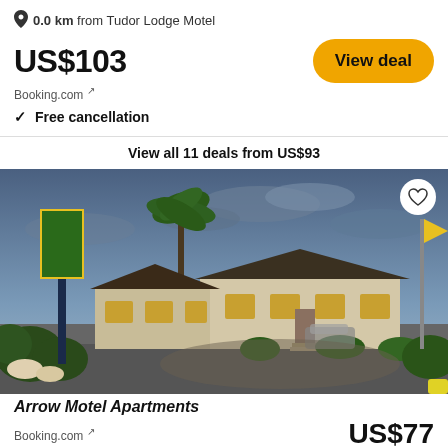0.0 km from Tudor Lodge Motel
US$103
Booking.com ↗
✓ Free cancellation
View all 11 deals from US$93
[Figure (photo): Exterior photo of Arrow Motel Apartments at dusk, showing motel buildings with warm lit windows, palm trees, and a flag pole against a blue sky.]
Arrow Motel Apartments
Booking.com ↗
US$77
View deal